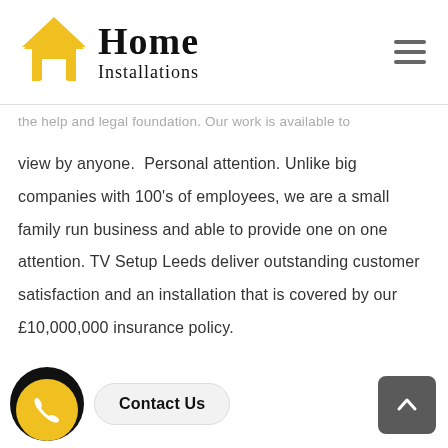Home Installations
...the help and legal foundation. Our work is available to view by anyone.  Personal attention. Unlike big companies with 100's of employees, we are a small family run business and able to provide one on one attention. TV Setup Leeds deliver outstanding customer satisfaction and an installation that is covered by our £10,000,000 insurance policy.
Contact Us